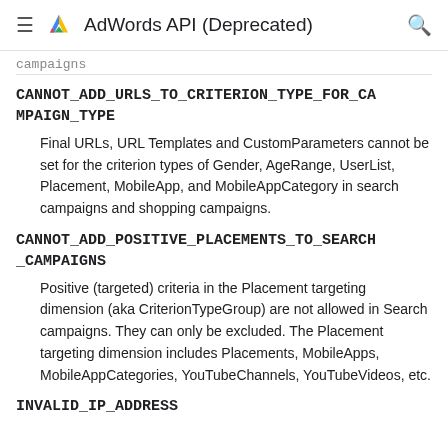AdWords API (Deprecated)
campaigns
CANNOT_ADD_URLS_TO_CRITERION_TYPE_FOR_CAMPAIGN_TYPE
Final URLs, URL Templates and CustomParameters cannot be set for the criterion types of Gender, AgeRange, UserList, Placement, MobileApp, and MobileAppCategory in search campaigns and shopping campaigns.
CANNOT_ADD_POSITIVE_PLACEMENTS_TO_SEARCH_CAMPAIGNS
Positive (targeted) criteria in the Placement targeting dimension (aka CriterionTypeGroup) are not allowed in Search campaigns. They can only be excluded. The Placement targeting dimension includes Placements, MobileApps, MobileAppCategories, YouTubeChannels, YouTubeVideos, etc.
INVALID_IP_ADDRESS